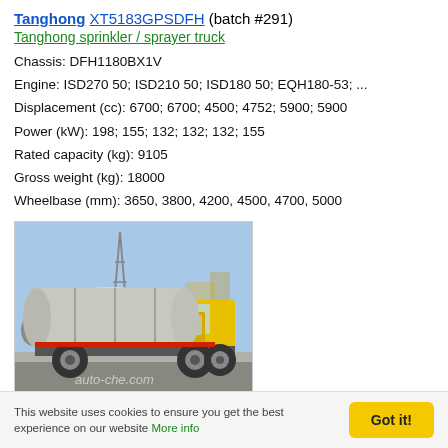Tanghong XT5183GPSDFH (batch #291)
Tanghong sprinkler / sprayer truck
Chassis: DFH1180BX1V
Engine: ISD270 50; ISD210 50; ISD180 50; EQH180-53; ...
Displacement (cc): 6700; 6700; 4500; 4752; 5900; 5900
Power (kW): 198; 155; 132; 132; 132; 155
Rated capacity (kg): 9105
Gross weight (kg): 18000
Wheelbase (mm): 3650, 3800, 4200, 4500, 4700, 5000
[Figure (photo): Yellow Tanghong sprinkler/sprayer truck with silver tank, photographed outdoors on a road. Watermark: auto-che.com]
This website uses cookies to ensure you get the best experience on our website More info